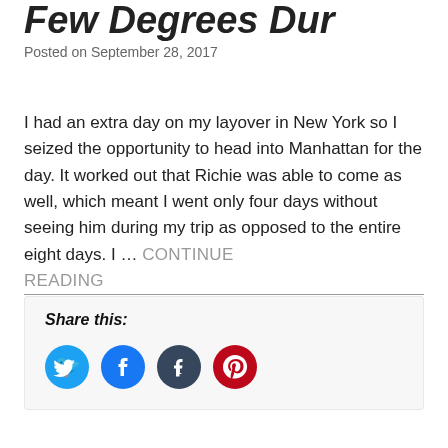Few Degrees Dur
Posted on September 28, 2017
I had an extra day on my layover in New York so I seized the opportunity to head into Manhattan for the day. It worked out that Richie was able to come as well, which meant I went only four days without seeing him during my trip as opposed to the entire eight days. I … CONTINUE READING
Share this:
[Figure (infographic): Social share buttons: Twitter (blue bird), Facebook (blue f), Tumblr (dark blue t), Pinterest (red p)]